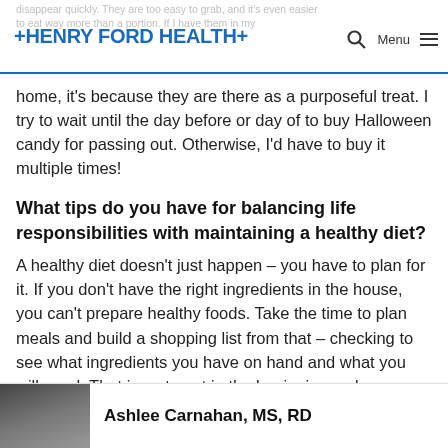HENRY FORD HEALTH
disappear quickly. They are too easy to grab, and it’s even easier to eat way more than a portion. If I have them in my home, it’s because they are there as a purposeful treat. I try to wait until the day before or day of to buy Halloween candy for passing out. Otherwise, I’d have to buy it multiple times!
What tips do you have for balancing life responsibilities with maintaining a healthy diet?
A healthy diet doesn’t just happen – you have to plan for it. If you don’t have the right ingredients in the house, you can’t prepare healthy foods. Take the time to plan meals and build a shopping list from that – checking to see what ingredients you have on hand and what you will need. That investment in the beginning makes everything else flow much more easily.
Ashlee Carnahan, MS, RD